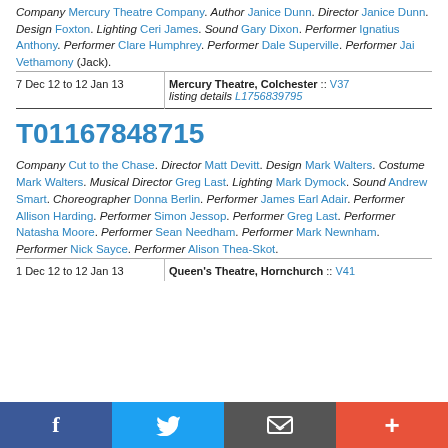Company Mercury Theatre Company. Author Janice Dunn. Director Janice Dunn. Design Foxton. Lighting Ceri James. Sound Gary Dixon. Performer Ignatius Anthony. Performer Clare Humphrey. Performer Dale Superville. Performer Jai Vethamony (Jack).
| Date | Venue |
| --- | --- |
| 7 Dec 12 to 12 Jan 13 | Mercury Theatre, Colchester :: V37 listing details L1756839795 |
T01167848715
Company Cut to the Chase. Director Matt Devitt. Design Mark Walters. Costume Mark Walters. Musical Director Greg Last. Lighting Mark Dymock. Sound Andrew Smart. Choreographer Donna Berlin. Performer James Earl Adair. Performer Allison Harding. Performer Simon Jessop. Performer Greg Last. Performer Natasha Moore. Performer Sean Needham. Performer Mark Newnham. Performer Nick Sayce. Performer Alison Thea-Skot.
| Date | Venue |
| --- | --- |
| 1 Dec 12 to 12 Jan 13 | Queen's Theatre, Hornchurch :: V41 |
f  [Twitter]  [Mail]  +